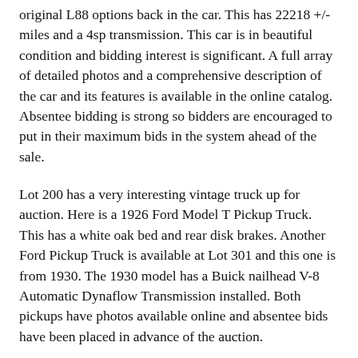original L88 options back in the car. This has 22218 +/- miles and a 4sp transmission. This car is in beautiful condition and bidding interest is significant. A full array of detailed photos and a comprehensive description of the car and its features is available in the online catalog. Absentee bidding is strong so bidders are encouraged to put in their maximum bids in the system ahead of the sale.
Lot 200 has a very interesting vintage truck up for auction. Here is a 1926 Ford Model T Pickup Truck. This has a white oak bed and rear disk brakes. Another Ford Pickup Truck is available at Lot 301 and this one is from 1930. The 1930 model has a Buick nailhead V-8 Automatic Dynaflow Transmission installed. Both pickups have photos available online and absentee bids have been placed in advance of the auction.
The car that won the Detroit Autorama show as best street rod in America in 2015 is available for sale at Lot 400. This is an outstanding 1940 Chevrolet Master 85 Business Coupe Street